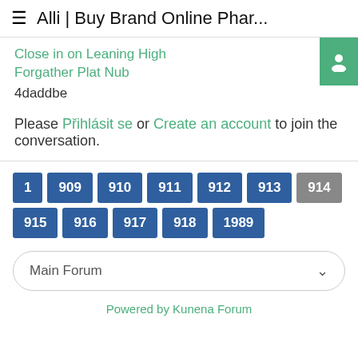≡ Alli | Buy Brand Online Phar...
Close in on Leaning High
Forgather Plat Nub
4daddbe
Please Přihlásit se or Create an account to join the conversation.
1 909 910 911 912 913 914 915 916 917 918 1989
Main Forum
Powered by Kunena Forum